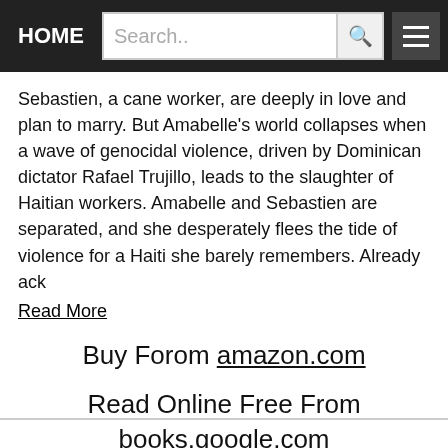HOME  Search..  [search icon] [menu icon]
Sebastien, a cane worker, are deeply in love and plan to marry. But Amabelle's world collapses when a wave of genocidal violence, driven by Dominican dictator Rafael Trujillo, leads to the slaughter of Haitian workers. Amabelle and Sebastien are separated, and she desperately flees the tide of violence for a Haiti she barely remembers. Already ack
Read More
Buy Forom amazon.com
Read Online Free From books.google.com